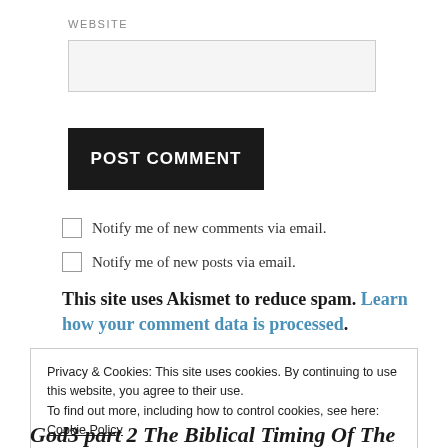WEBSITE
POST COMMENT
Notify me of new comments via email.
Notify me of new posts via email.
This site uses Akismet to reduce spam. Learn how your comment data is processed.
Privacy & Cookies: This site uses cookies. By continuing to use this website, you agree to their use.
To find out more, including how to control cookies, see here: Cookie Policy
Close and accept
God3 part 2 The Biblical Timing Of The